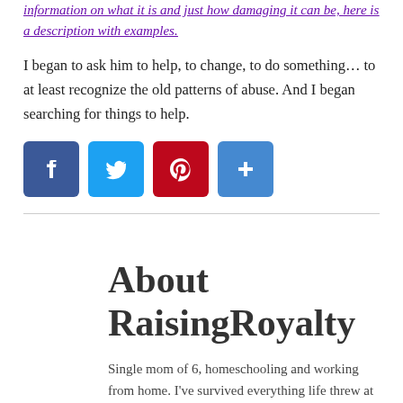information on what it is and just how damaging it can be, here is a description with examples.
I began to ask him to help, to change, to do something… to at least recognize the old patterns of abuse. And I began searching for things to help.
[Figure (infographic): Social media sharing buttons: Facebook (blue), Twitter (light blue), Pinterest (red), Share/Add (blue)]
About RaisingRoyalty
Single mom of 6, homeschooling and working from home. I've survived everything life threw at me, now I'm finding a way to thrive. This is my real life story.